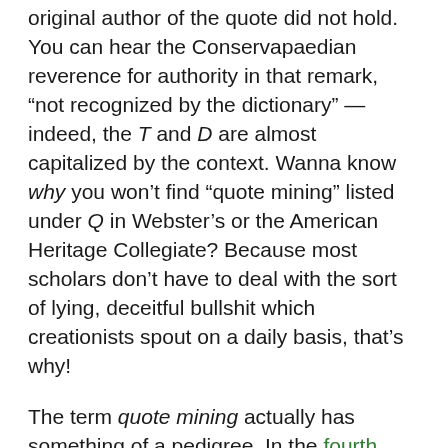original author of the quote did not hold. You can hear the Conservapaedian reverence for authority in that remark, “not recognized by the dictionary” — indeed, the T and D are almost capitalized by the context. Wanna know why you won’t find “quote mining” listed under Q in Webster’s or the American Heritage Collegiate? Because most scholars don’t have to deal with the sort of lying, deceitful bullshit which creationists spout on a daily basis, that’s why!
The term quote mining actually has something of a pedigree. In the fourth edition of his Anatomy of Melancholy (1632), Robert Burton said, “I cite and quote mine Authors, which howsoever some illiterate scriblers accompt pedanticall as a cloake of ignorance, and opposite to their affected fine stile, I must and will use.” [EDIT: yes, this is probably in truth “mine” as in “enemy mine,” but it’s still a fun comparison to make.] Burton was referring to his habit of inserting literary (and often classical) quotations into his prose, many of which he recalled indirectly: a line from Seneca read in a piece by the Catholic